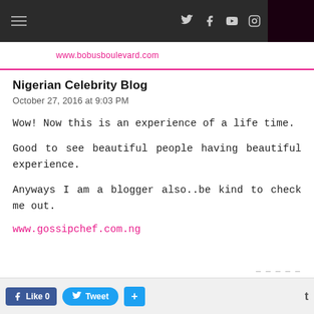www.bobusboulevard.com — navigation bar with social icons
October 27, 2016 at 9:03 PM
Nigerian Celebrity Blog
Wow! Now this is an experience of a life time.
Good to see beautiful people having beautiful experience.
Anyways I am a blogger also..be kind to check me out.
www.gossipchef.com.ng